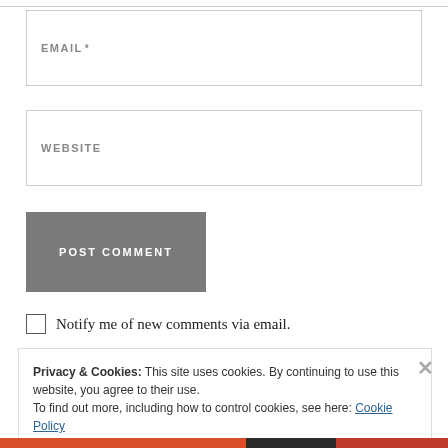EMAIL *
WEBSITE
POST COMMENT
Notify me of new comments via email.
Privacy & Cookies: This site uses cookies. By continuing to use this website, you agree to their use.
To find out more, including how to control cookies, see here: Cookie Policy
Close and accept